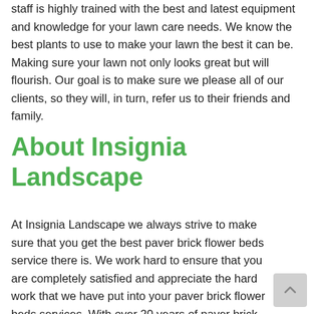staff is highly trained with the best and latest equipment and knowledge for your lawn care needs. We know the best plants to use to make your lawn the best it can be. Making sure your lawn not only looks great but will flourish. Our goal is to make sure we please all of our clients, so they will, in turn, refer us to their friends and family.
About Insignia Landscape
At Insignia Landscape we always strive to make sure that you get the best paver brick flower beds service there is. We work hard to ensure that you are completely satisfied and appreciate the hard work that we have put into your paver brick flower beds services. With over 20 years of paver brick flower beds service experience, our goal is to